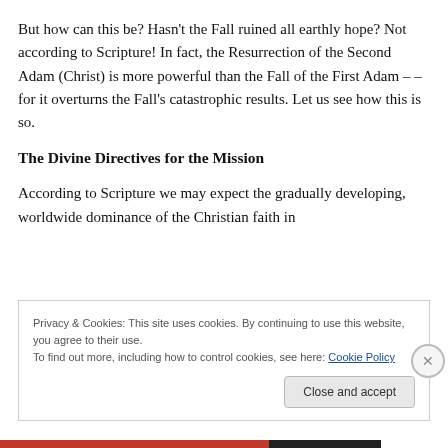But how can this be? Hasn't the Fall ruined all earthly hope? Not according to Scripture! In fact, the Resurrection of the Second Adam (Christ) is more powerful than the Fall of the First Adam – – for it overturns the Fall's catastrophic results. Let us see how this is so.
The Divine Directives for the Mission
According to Scripture we may expect the gradually developing, worldwide dominance of the Christian faith in
Privacy & Cookies: This site uses cookies. By continuing to use this website, you agree to their use.
To find out more, including how to control cookies, see here: Cookie Policy
Close and accept